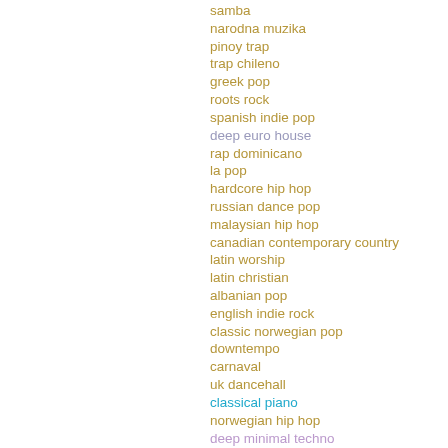samba
narodna muzika
pinoy trap
trap chileno
greek pop
roots rock
spanish indie pop
deep euro house
rap dominicano
la pop
hardcore hip hop
russian dance pop
malaysian hip hop
canadian contemporary country
latin worship
latin christian
albanian pop
english indie rock
classic norwegian pop
downtempo
carnaval
uk dancehall
classical piano
norwegian hip hop
deep minimal techno